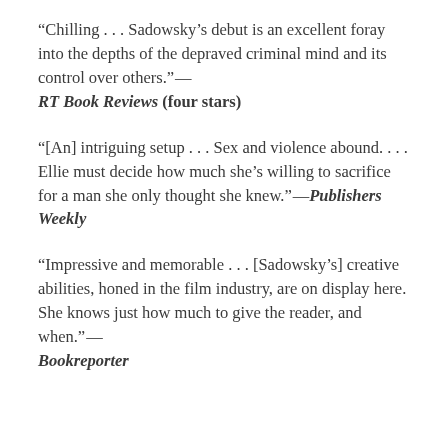“Chilling . . . Sadowsky’s debut is an excellent foray into the depths of the depraved criminal mind and its control over others.”—RT Book Reviews (four stars)
“[An] intriguing setup . . . Sex and violence abound. . . . Ellie must decide how much she’s willing to sacrifice for a man she only thought she knew.”—Publishers Weekly
“Impressive and memorable . . . [Sadowsky’s] creative abilities, honed in the film industry, are on display here. She knows just how much to give the reader, and when.”—Bookreporter